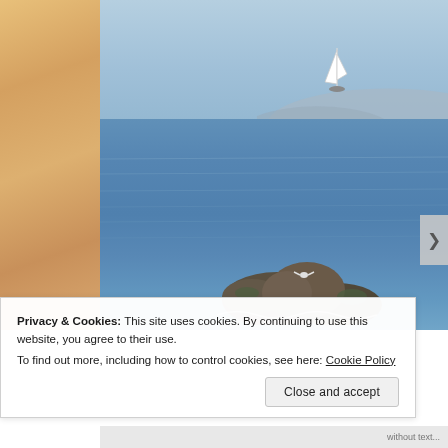[Figure (photo): Coastal ocean scene with a sailboat in the distance sailing on blue water. Rocky outcrop with seabirds in the foreground. Blue sky with hazy mountains/hills visible on the horizon in the background. Left portion shows a sandy/beige textured wall or panel.]
Privacy & Cookies: This site uses cookies. By continuing to use this website, you agree to their use.
To find out more, including how to control cookies, see here: Cookie Policy
Close and accept